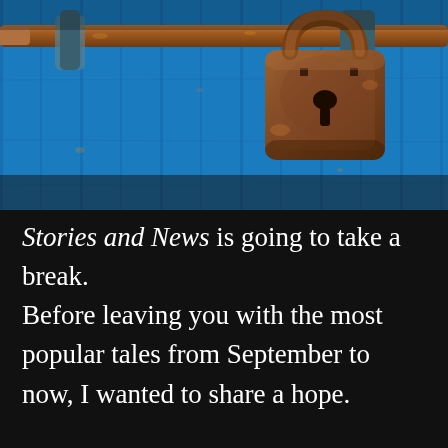[Figure (photo): Close-up photograph of a rusty old padlock latched on a blue painted wooden door or gate. A horizontal iron bolt passes through metal rings. The padlock is large, brown-rust colored with a keyhole visible. The background wooden surface is painted bright blue with paint peeling in spots.]
Stories and News is going to take a break. Before leaving you with the most popular tales from September to now, I wanted to share a hope.